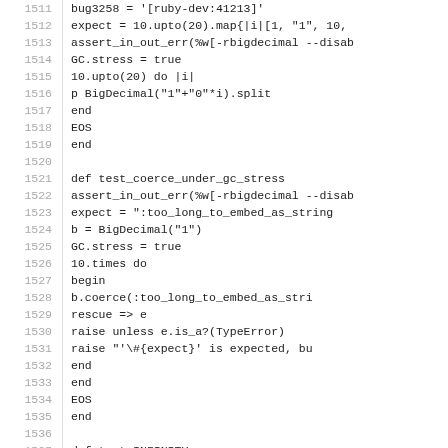Source code listing, lines 1511-1540, Ruby test file for BigDecimal
1511:     bug3258 = '[ruby-dev:41213]'
1512:     expect = 10.upto(20).map{|i|[1, "1", 10,
1513:     assert_in_out_err(%w[-rbigdecimal --disab
1514:     GC.stress = true
1515:     10.upto(20) do |i|
1516:       p BigDecimal("1"+"0"*i).split
1517:     end
1518:     EOS
1519:   end
1520:
1521:   def test_coerce_under_gc_stress
1522:     assert_in_out_err(%w[-rbigdecimal --disab
1523:       expect = ":too_long_to_embed_as_string
1524:       b = BigDecimal("1")
1525:       GC.stress = true
1526:       10.times do
1527:         begin
1528:           b.coerce(:too_long_to_embed_as_stri
1529:         rescue => e
1530:           raise unless e.is_a?(TypeError)
1531:           raise "'\#{expect}' is expected, bu
1532:         end
1533:       end
1534:     EOS
1535:   end
1536:
1537:   def test_INFINITY
1538:     assert_positive_infinite(BigDecimal::INFI
1539:   end
1540: